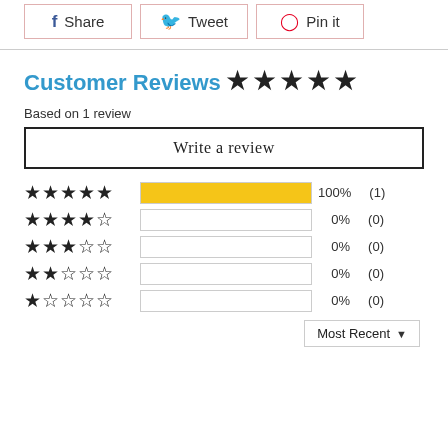[Figure (other): Social sharing buttons: Share (Facebook), Tweet (Twitter), Pin it (Pinterest)]
Customer Reviews
[Figure (other): 5 filled stars rating display]
Based on 1 review
Write a review
[Figure (bar-chart): Star rating breakdown bars with percentages and counts]
Most Recent